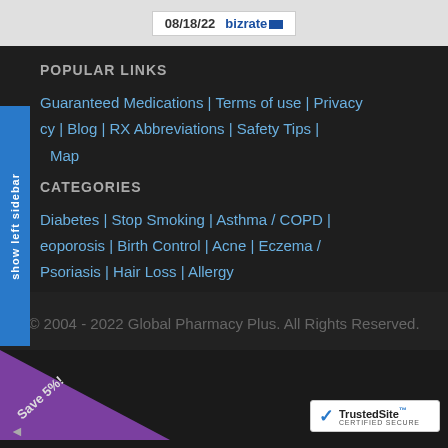[Figure (other): Bizrate logo with date 08/18/22 in a white bordered box on a light grey bar]
POPULAR LINKS
Guaranteed Medications | Terms of use | Privacy | Blog | RX Abbreviations | Safety Tips | Map
CATEGORIES
Diabetes | Stop Smoking | Asthma / COPD | Osteoporosis | Birth Control | Acne | Eczema / Psoriasis | Hair Loss | Allergy
© 2004 - 2022 Global Pharmacy Plus. All Rights Reserved.
[Figure (other): Purple corner triangle with 'Save 5%!' text and TrustedSite Certified Secure badge]